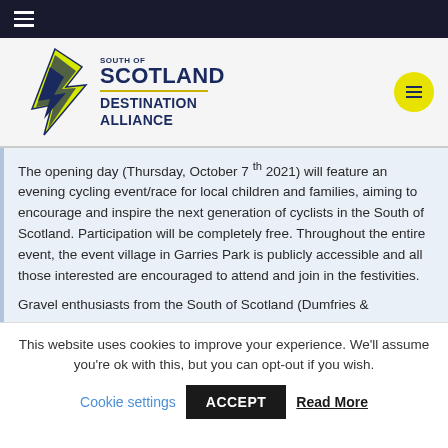Navigation bar with hamburger menu icon
[Figure (logo): South of Scotland Destination Alliance logo with yellow lightning bolt bird graphic and navy blue text]
The opening day (Thursday, October 7th 2021) will feature an evening cycling event/race for local children and families, aiming to encourage and inspire the next generation of cyclists in the South of Scotland. Participation will be completely free. Throughout the entire event, the event village in Garries Park is publicly accessible and all those interested are encouraged to attend and join in the festivities.
Gravel enthusiasts from the South of Scotland (Dumfries &
This website uses cookies to improve your experience. We'll assume you're ok with this, but you can opt-out if you wish.
Cookie settings  ACCEPT  Read More